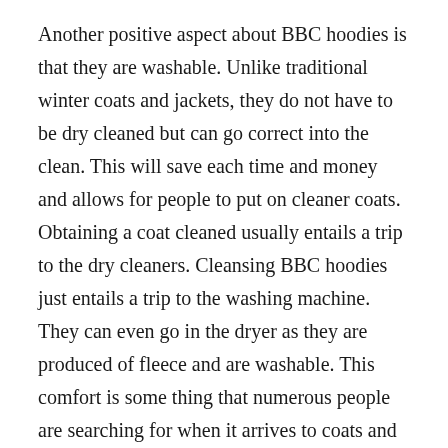Another positive aspect about BBC hoodies is that they are washable. Unlike traditional winter coats and jackets, they do not have to be dry cleaned but can go correct into the clean. This will save each time and money and allows for people to put on cleaner coats. Obtaining a coat cleaned usually entails a trip to the dry cleaners. Cleansing BBC hoodies just entails a trip to the washing machine. They can even go in the dryer as they are produced of fleece and are washable. This comfort is some thing that numerous people are searching for when it arrives to coats and outerwear.
Traditionally, men’s shirts are classified as formals and casuals. Formals, as the name indicates, are intended for official events this kind of as heading to function,